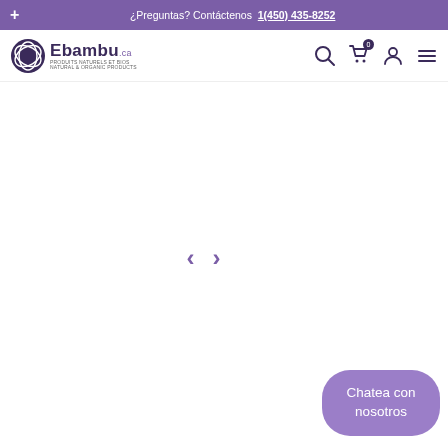+ ¿Preguntas? Contáctenos  1(450) 435-8252
[Figure (logo): Ebambu.ca logo with purple leaf icon and text]
‹  ›
Chatea con nosotros